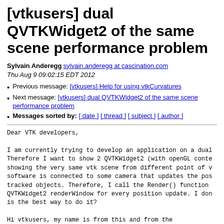[vtkusers] dual QVTKWidget2 of the same scene performance problem
Sylvain Anderegg sylvain.anderegg at cascination.com
Thu Aug 9 09:02:15 EDT 2012
Previous message: [vtkusers] Help for using vtkCurvatures
Next message: [vtkusers] dual QVTKWidget2 of the same scene performance problem
Messages sorted by: [ date ] [ thread ] [ subject ] [ author ]
Dear VTK developers,

I am currently trying to develop an application on a dual.
Therefore I want to show 2 QVTKWidget2 (with openGL conte
showing the very same vtk scene from different point of v
software is connected to some camera that updates the pos
tracked objects. Therefore, I call the Render() function
QVTKWidget2 renderWindow for every position update. I don
is the best way to do it?